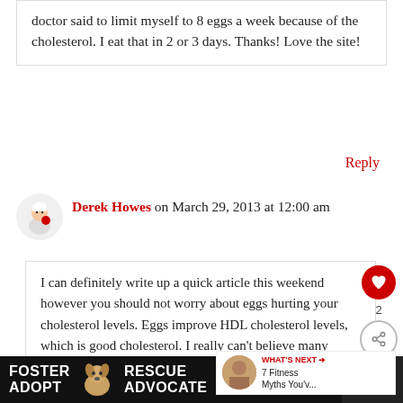doctor said to limit myself to 8 eggs a week because of the cholesterol. I eat that in 2 or 3 days. Thanks! Love the site!
Reply
Derek Howes on March 29, 2013 at 12:00 am
I can definitely write up a quick article this weekend however you should not worry about eggs hurting your cholesterol levels. Eggs improve HDL cholesterol levels, which is good cholesterol. I really can't believe many Doctor's still push the whole eggs/bad cholesterol mentality. Thank you Erik!
[Figure (infographic): WHAT'S NEXT arrow label with thumbnail image and text '7 Fitness Myths You'v...']
[Figure (infographic): Ad banner: FOSTER ADOPT dog image RESCUE ADVOCATE with close button]